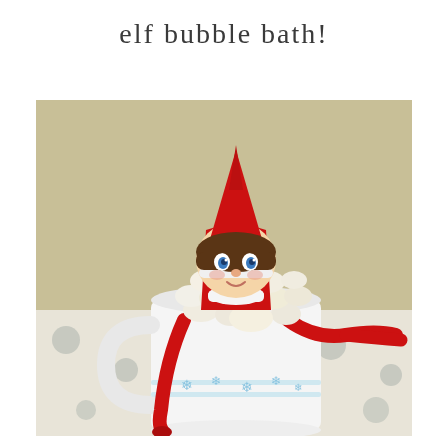elf bubble bath!
[Figure (photo): An Elf on the Shelf doll wearing a red hat and suit sitting inside a white Christmas mug filled with mini marshmallows, simulating a bubble bath. The elf's red legs hang over the side of the mug. The mug has blue snowflake decorations and sits on a table with a gray polka-dot tablecloth.]